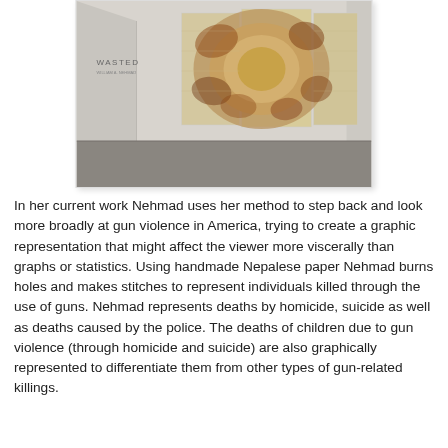[Figure (photo): Gallery installation photo showing the 'WASTED' exhibition. A set of large triptych artworks mounted on a white gallery wall, featuring circular abstract patterns in warm tones of orange, brown, and tan on a textured background. The gallery has grey flooring.]
In her current work Nehmad uses her method to step back and look more broadly at gun violence in America, trying to create a graphic representation that might affect the viewer more viscerally than graphs or statistics. Using handmade Nepalese paper Nehmad burns holes and makes stitches to represent individuals killed through the use of guns. Nehmad represents deaths by homicide, suicide as well as deaths caused by the police. The deaths of children due to gun violence (through homicide and suicide) are also graphically represented to differentiate them from other types of gun-related killings.